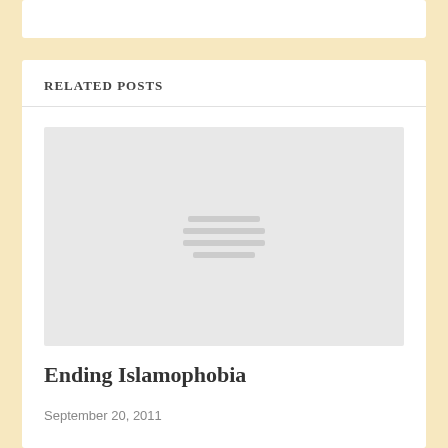RELATED POSTS
[Figure (illustration): Gray placeholder image with three horizontal lines icon in the center, representing a loading or missing image thumbnail]
Ending Islamophobia
September 20, 2011
[Figure (illustration): Gray placeholder image, partially visible at the bottom of the page]